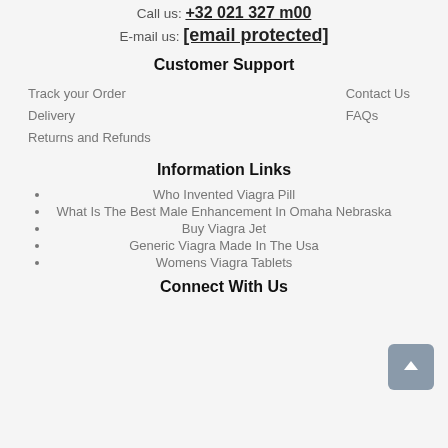Call us: +32 021 327 m00
E-mail us: [email protected]
Customer Support
Track your Order
Contact Us
Delivery
FAQs
Returns and Refunds
Information Links
Who Invented Viagra Pill
What Is The Best Male Enhancement In Omaha Nebraska
Buy Viagra Jet
Generic Viagra Made In The Usa
Womens Viagra Tablets
Connect With Us